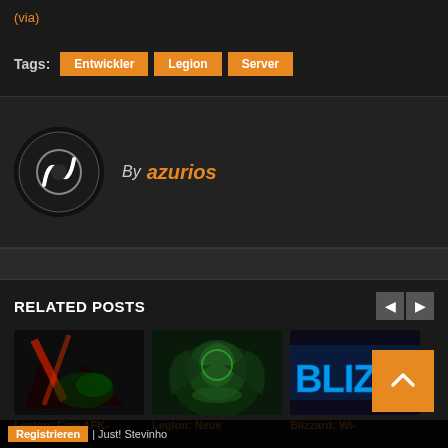(via)
Tags: Entwickler  Legion  Server
By azurios
RELATED POSTS
[Figure (photo): Legion: Eine AFK - thumbnail image with red and green gaming art]
[Figure (photo): Legion: Neue - thumbnail image with green demon World of Warcraft art]
[Figure (photo): Blizzard: Wi - Blizzard logo blue text on dark background]
Legion: Eine AFK
Legion: Neue
Blizzard: Wi
Registrieren | Just! Stevinho